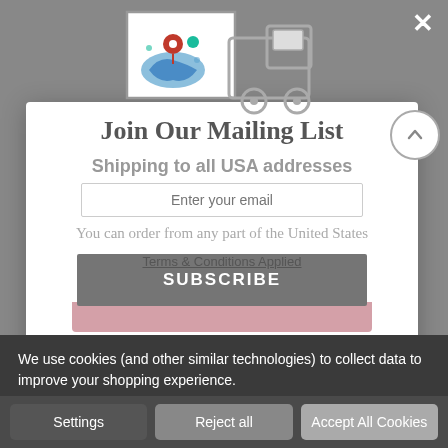[Figure (illustration): Delivery truck illustration with a map pin and location icon on a white square, grey truck outline]
Join Our Mailing List
Shipping to all USA addresses
Enter your email
You can order from any part of the United States
Terms & Conditions Applied
SUBSCRIBE
[Figure (illustration): Facebook and Instagram social media icons]
No, thanks
We use cookies (and other similar technologies) to collect data to improve your shopping experience.
Settings
Reject all
Accept All Cookies